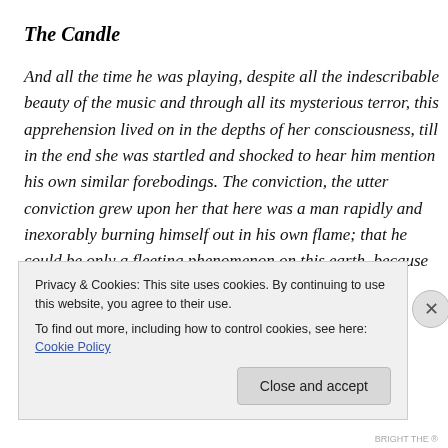The Candle
And all the time he was playing, despite all the indescribable beauty of the music and through all its mysterious terror, this apprehension lived on in the depths of her consciousness, till in the end she was startled and shocked to hear him mention his own similar forebodings. The conviction, the utter conviction grew upon her that here was a man rapidly and inexorably burning himself out in his own flame; that he could be only a fleeting phenomenon on this earth. because the overwhelming
Privacy & Cookies: This site uses cookies. By continuing to use this website, you agree to their use.
To find out more, including how to control cookies, see here: Cookie Policy
Close and accept